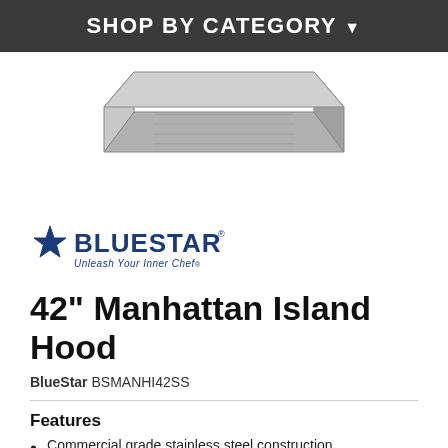SHOP BY CATEGORY
[Figure (photo): Stainless steel island range hood viewed from below, showing underside and sides.]
[Figure (logo): BlueStar logo with star icon and tagline 'Unleash Your Inner Chef']
42" Manhattan Island Hood
BlueStar BSMANHI42SS
Features
Commercial grade stainless steel construction
Welded seamless corners
Commercial style stainless steel baffle filter system